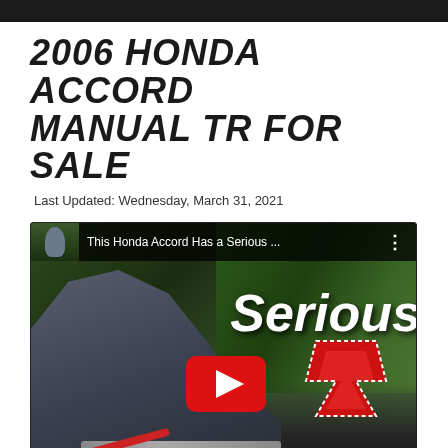2006 HONDA ACCORD MANUAL TR FOR SALE
Last Updated: Wednesday, March 31, 2021
[Figure (screenshot): YouTube video thumbnail showing a man leaning over a car engine with text 'This Honda Accord Has a Serious...' and a large YouTube play button overlay. The word 'Serious' appears in large white italic text on the right side.]